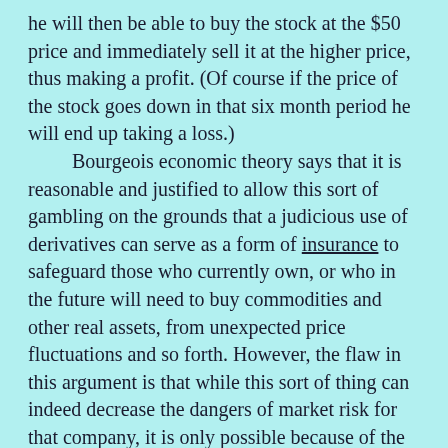he will then be able to buy the stock at the $50 price and immediately sell it at the higher price, thus making a profit. (Of course if the price of the stock goes down in that six month period he will end up taking a loss.) Bourgeois economic theory says that it is reasonable and justified to allow this sort of gambling on the grounds that a judicious use of derivatives can serve as a form of insurance to safeguard those who currently own, or who in the future will need to buy commodities and other real assets, from unexpected price fluctuations and so forth. However, the flaw in this argument is that while this sort of thing can indeed decrease the dangers of market risk for that company, it is only possible because of the increased risks transmitted to the other speculators. Moreover, since the stock market, at least, is itself in effect a giant Ponzi scheme, allowing derivatives based on stock prices is a